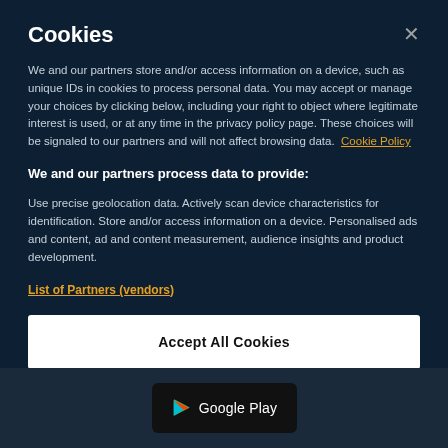Cookies
We and our partners store and/or access information on a device, such as unique IDs in cookies to process personal data. You may accept or manage your choices by clicking below, including your right to object where legitimate interest is used, or at any time in the privacy policy page. These choices will be signaled to our partners and will not affect browsing data. Cookie Policy
We and our partners process data to provide:
Use precise geolocation data. Actively scan device characteristics for identification. Store and/or access information on a device. Personalised ads and content, ad and content measurement, audience insights and product development.
List of Partners (vendors)
Accept All Cookies
[Figure (screenshot): Google Play store badge at the bottom of the page]